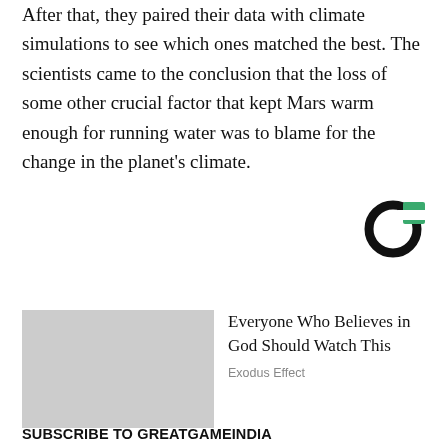After that, they paired their data with climate simulations to see which ones matched the best. The scientists came to the conclusion that the loss of some other crucial factor that kept Mars warm enough for running water was to blame for the change in the planet's climate.
[Figure (logo): Circular logo with black ring and green accent, resembling the Outbrain or similar content recommendation logo]
Everyone Who Believes in God Should Watch This
Exodus Effect
SUBSCRIBE TO GREATGAMEINDIA